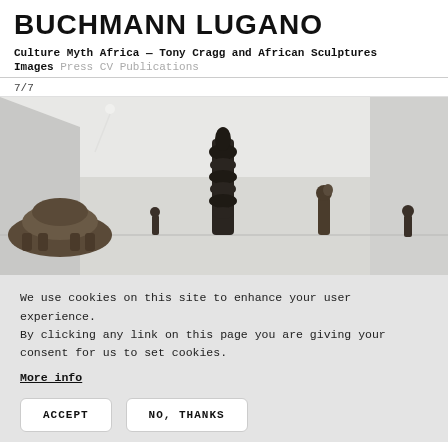BUCHMANN LUGANO
Culture Myth Africa — Tony Cragg and African Sculptures
Images  Press  CV  Publications
7/7
[Figure (photo): Gallery installation view showing several African sculptures and a tall dark sculptural form in a white room. Sculptures include a wide dome-shaped object on the left, small figurines, a tall vertical totem-like piece in the center, a standing figurine to the right, and another small figurine at far right.]
We use cookies on this site to enhance your user experience.
By clicking any link on this page you are giving your consent for us to set cookies.
More info
ACCEPT
NO, THANKS